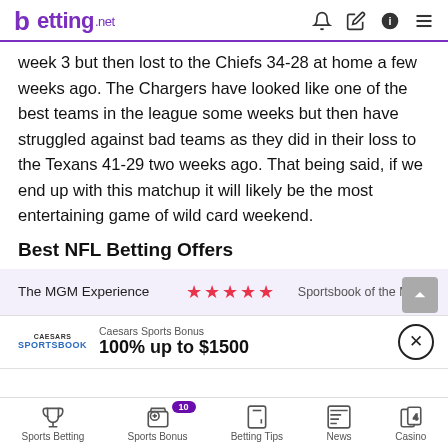betting.net
week 3 but then lost to the Chiefs 34-28 at home a few weeks ago. The Chargers have looked like one of the best teams in the league some weeks but then have struggled against bad teams as they did in their loss to the Texans 41-29 two weeks ago. That being said, if we end up with this matchup it will likely be the most entertaining game of wild card weekend.
Best NFL Betting Offers
The MGM Experience ★★★★★ Sportsbook of the Month
Caesars Sports Bonus 100% up to $1500
Sports Betting | Sports Bonus | Betting Tips | News | Casino